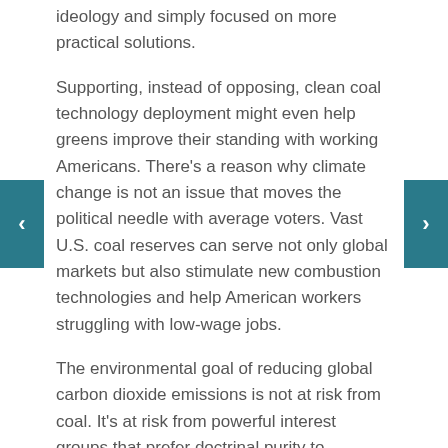ideology and simply focused on more practical solutions.
Supporting, instead of opposing, clean coal technology deployment might even help greens improve their standing with working Americans. There's a reason why climate change is not an issue that moves the political needle with average voters. Vast U.S. coal reserves can serve not only global markets but also stimulate new combustion technologies and help American workers struggling with low-wage jobs.
The environmental goal of reducing global carbon dioxide emissions is not at risk from coal. It's at risk from powerful interest groups that prefer doctrinal purity to practical solutions. If the goal of reaching the UN target is receding, it won't come any closer by